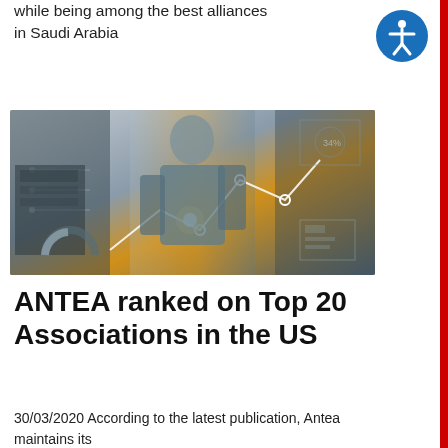while being among the best alliances in Saudi Arabia
[Figure (photo): Woman in business suit interacting with digital data visualization screens and holographic displays]
ANTEA ranked on Top 20 Associations in the US
30/03/2020 According to the latest publication, Antea maintains its